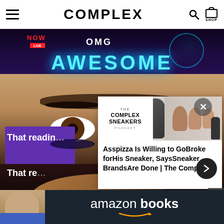COMPLEX
[Figure (screenshot): Complex website screenshot showing a media player with 'AWESOME' branding overlay, a person's face/eye close-up in the background, and a podcast card overlay for The Complex Sneakers Podcast featuring Asspizza]
That readin
That re
Asspizza Is Willing to GoBroke forHis Sneaker, SaysSneaker BrandsAre Done | The Complex ...
[Figure (logo): THE COMPLEX SNEAKERS PODCAST logo in white box]
[Figure (advertisement): Amazon Books banner advertisement with a bald person reading a book and Amazon Books logo with smile arrow]
amazon books